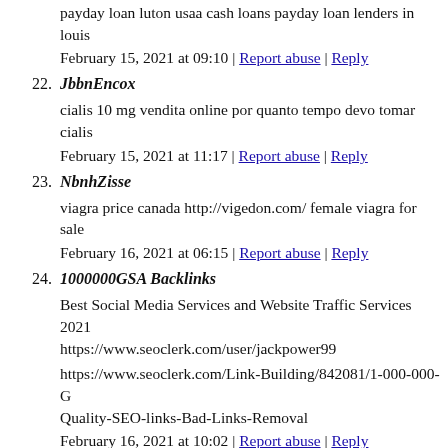payday loan luton usaa cash loans payday loan lenders in louis
February 15, 2021 at 09:10 | Report abuse | Reply
22. JbbnEncox
cialis 10 mg vendita online por quanto tempo devo tomar cialis
February 15, 2021 at 11:17 | Report abuse | Reply
23. NbnhZisse
viagra price canada http://vigedon.com/ female viagra for sale
February 16, 2021 at 06:15 | Report abuse | Reply
24. 1000000GSA Backlinks
Best Social Media Services and Website Traffic Services 2021 https://www.seoclerk.com/user/jackpower99
https://www.seoclerk.com/Link-Building/842081/1-000-000-G Quality-SEO-links-Bad-Links-Removal
February 16, 2021 at 10:02 | Report abuse | Reply
25. FqbbEncox
big payday loans online stop payday loan letters cash advance